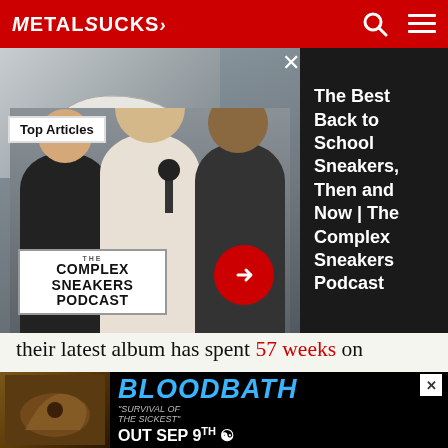MetalSucks
[Figure (screenshot): Ad overlay showing The Complex Sneakers Podcast with three men and sneaker image, alongside dark panel with text 'The Best Back to School Sneakers, Then and Now | The Complex Sneakers Podcast']
their latest album has spent 57 weeks on Billboard's Hard Rock Albums chart. Volbeat's Beyond Hell/Above Heaven? 44 weeks. Halestorm's The Strange Case of…? 31 weeks. I'm guessing that many metal elitists spouting off about the latest in tech death prog crust haven't even given these bands a shot. Along those lines, r… on the rationa…
[Figure (screenshot): Bloodbath advertisement banner — 'BLOODBATH — SURVIVAL OF THE SICKEST — OUT SEP 9th']